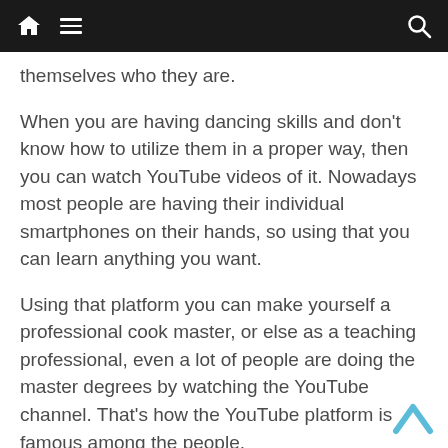[navigation bar with home, menu, and search icons]
themselves who they are.
When you are having dancing skills and don't know how to utilize them in a proper way, then you can watch YouTube videos of it. Nowadays most people are having their individual smartphones on their hands, so using that you can learn anything you want.
Using that platform you can make yourself a professional cook master, or else as a teaching professional, even a lot of people are doing the master degrees by watching the YouTube channel. That's how the YouTube platform is famous among the people.
Know your dancing talent: